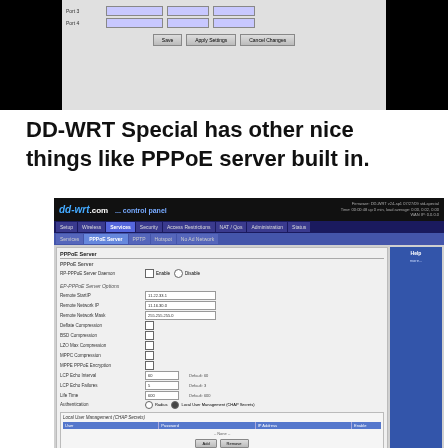[Figure (screenshot): Top portion of DD-WRT router admin panel showing port configuration rows (Port 3, Port 4) with dropdown menus and Save/Apply Settings/Cancel Changes buttons]
DD-WRT Special has other nice things like PPPoE server built in.
[Figure (screenshot): DD-WRT control panel screenshot showing the Services > PPPoE Server tab with RP-PPPoE Server Daemon enable/disable option, EP-PPPoE Server Options including Remote StartIP (11.22.33.1), Remote Network IP (11.16.30.0), Remote Network Mask (255.255.255.0), compression options (Deflate, BSD, LZO, MPPC), MPPE PPPoE Encryption, LCP Echo Interval (60, Default: 60), LCP Echo Failures (5, Default: 3), Life Time (600, Default: 600), Authentication with Radius/Local User Management options, and Local User Management (CHAP Secrets) section with User/Password/IP Address/Enable table headers and Add/Remove buttons]